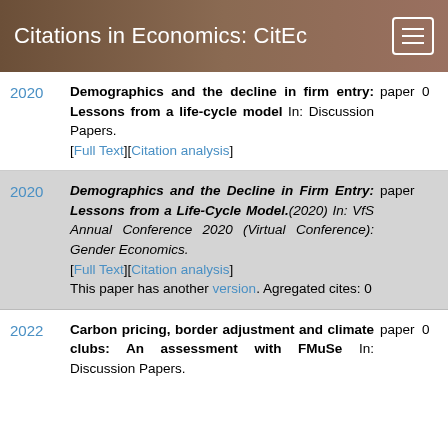Citations in Economics: CitEc
2020 — Demographics and the decline in firm entry: Lessons from a life-cycle model In: Discussion Papers. [Full Text][Citation analysis] paper 0
2020 — Demographics and the Decline in Firm Entry: Lessons from a Life-Cycle Model.(2020) In: VfS Annual Conference 2020 (Virtual Conference): Gender Economics. [Full Text][Citation analysis] This paper has another version. Agregated cites: 0 paper
2022 — Carbon pricing, border adjustment and climate clubs: An assessment with FMuSe In: Discussion Papers. paper 0